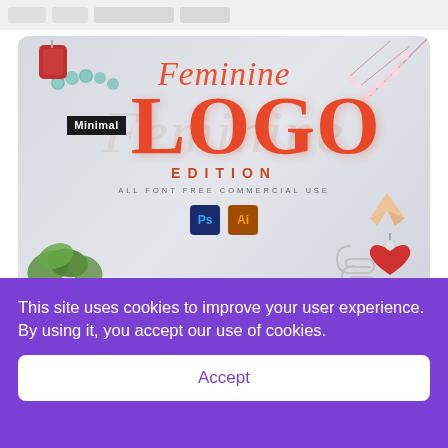[Figure (screenshot): Website screenshot showing a promotional banner for 'Feminine Minimal LOGO EDITION' design resource with ALL FONT FREE COMMERCIAL USE text, Photoshop and Illustrator icons, decorative elements including jewelry, plants, heart, and cherry blossoms on a light gray background.]
This site uses cookies to improve your user experience. By using it, you accept our use of cookies.
Accept